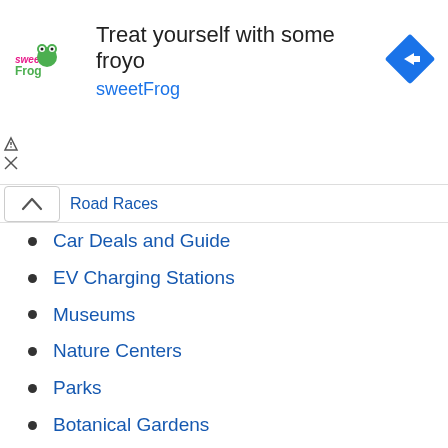[Figure (screenshot): Ad banner for sweetFrog frozen yogurt with logo, text 'Treat yourself with some froyo sweetFrog', and a blue navigation arrow icon]
Road Races
Car Deals and Guide
EV Charging Stations
Museums
Nature Centers
Parks
Botanical Gardens
Hiking
Skateparks
Public Golf Courses
Picnic Spots